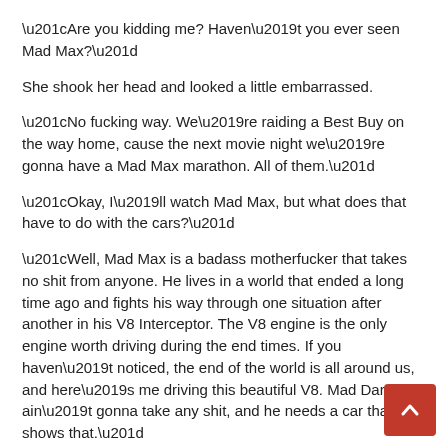“Are you kidding me? Haven’t you ever seen Mad Max?”
She shook her head and looked a little embarrassed.
“No fucking way. We’re raiding a Best Buy on the way home, cause the next movie night we’re gonna have a Mad Max marathon. All of them.”
“Okay, I’ll watch Mad Max, but what does that have to do with the cars?”
“Well, Mad Max is a badass motherfucker that takes no shit from anyone. He lives in a world that ended a long time ago and fights his way through one situation after another in his V8 Interceptor. The V8 engine is the only engine worth driving during the end times. If you haven’t noticed, the end of the world is all around us, and here’s me driving this beautiful V8. Mad Darnell ain’t gonna take any shit, and he needs a car that shows that.”
Karina laughed and snorted simultaneously. Darnell smiled at her sideways.